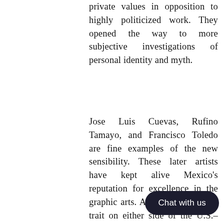Post-World War II artists felt a need to reassert private values in opposition to highly politicized work. They opened the way to more subjective investigations of personal identity and myth.
Jose Luis Cuevas, Rufino Tamayo, and Francisco Toledo are fine examples of the new sensibility. These later artists have kept alive Mexico's reputation for excellence in the graphic arts. A common Mexican trait on either side of the U.S.–Mexico border is the passionate interest in Mexicanidad (Mexicanness) and what comprises Mexican identity. Perhaps this obsession to understand the concept of Mexicanidad comes from nearly five centuries of mestizaje – the inter-cultural mixing that first occurred in Mesoamerica among Native American groups, European Spanish and enslaved